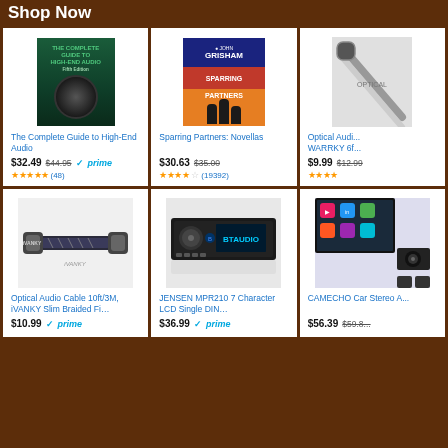Shop Now
[Figure (photo): Book cover: The Complete Guide to High-End Audio]
The Complete Guide to High-End Audio
$32.49  $44.95  prime  ★★★★★ (48)
[Figure (photo): Book cover: Sparring Partners Novellas by John Grisham]
Sparring Partners: Novellas
$30.63  $35.00  ★★★★☆ (19392)
[Figure (photo): Optical Audio cable product image (cropped)]
Optical Audi... WARRKY 6f...
$9.99  $12.99  ★★★★
[Figure (photo): iVANKY Optical Audio Cable 10ft/3M braided fiber]
Optical Audio Cable 10ft/3M, iVANKY Slim Braided Fi…
$10.99  prime
[Figure (photo): JENSEN MPR210 7 Character LCD Single DIN car stereo]
JENSEN MPR210 7 Character LCD Single DIN…
$36.99  prime
[Figure (photo): CAMECHO Car Stereo product image (partial)]
CAMECHO Car Stereo A...
$56.39  $59.8...